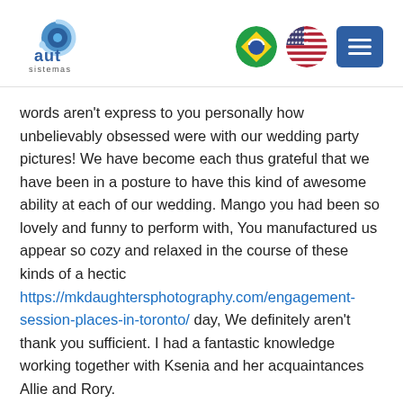[Figure (logo): AUT Sistemas logo with circular blue swirl graphic and 'aut sistemas' text]
[Figure (other): Brazilian flag circle icon]
[Figure (other): US flag circle icon]
[Figure (other): Blue menu/hamburger button]
words aren't express to you personally how unbelievably obsessed were with our wedding party pictures! We have become each thus grateful that we have been in a posture to have this kind of awesome ability at each of our wedding. Mango you had been so lovely and funny to perform with, You manufactured us appear so cozy and relaxed in the course of these kinds of a hectic https://mkdaughtersphotography.com/engagement-session-places-in-toronto/ day, We definitely aren't thank you sufficient. I had a fantastic knowledge working together with Ksenia and her acquaintances Allie and Rory.